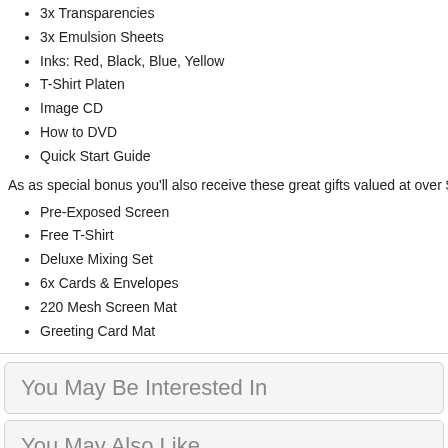3x Transparencies
3x Emulsion Sheets
Inks: Red, Black, Blue, Yellow
T-Shirt Platen
Image CD
How to DVD
Quick Start Guide
As as special bonus you'll also receive these great gifts valued at over $12...
Pre-Exposed Screen
Free T-Shirt
Deluxe Mixing Set
6x Cards & Envelopes
220 Mesh Screen Mat
Greeting Card Mat
You May Be Interested In
You May Also Like
[Figure (photo): Product images in a row: colorful craft kit box, small green craft items, blue device]